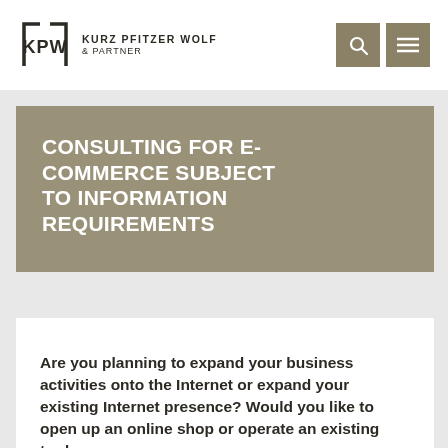KPW KURZ PFITZER WOLF & PARTNER
CONSULTING FOR E-COMMERCE SUBJECT TO INFORMATION REQUIREMENTS
Are you planning to expand your business activities onto the Internet or expand your existing Internet presence? Would you like to open up an online shop or operate an existing trade